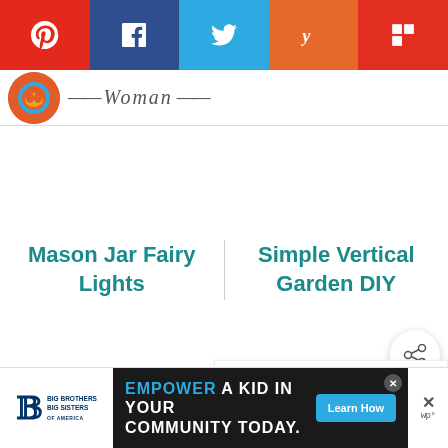Social share bar: Pinterest, Facebook, Twitter, Yummly, Flipboard
[Figure (logo): Woman brand logo with circular orange icon and italic 'Woman' text with decorative dashes]
Mason Jar Fairy Lights
Simple Vertical Garden DIY
[Figure (other): Share/connect floating button with share icon]
[Figure (other): What's Next widget showing thumbnail of Pop's Spicy Garlic Dill... article]
[Figure (other): Advertisement: Big Brothers Big Sisters / Empower A Kid In Your Community Today with Learn How button]